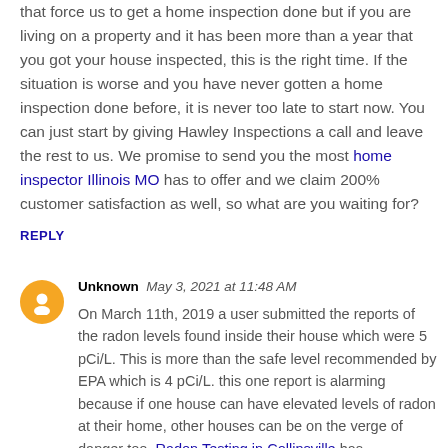that force us to get a home inspection done but if you are living on a property and it has been more than a year that you got your house inspected, this is the right time. If the situation is worse and you have never gotten a home inspection done before, it is never too late to start now. You can just start by giving Hawley Inspections a call and leave the rest to us. We promise to send you the most home inspector Illinois MO has to offer and we claim 200% customer satisfaction as well, so what are you waiting for?
REPLY
Unknown May 3, 2021 at 11:48 AM
On March 11th, 2019 a user submitted the reports of the radon levels found inside their house which were 5 pCi/L. This is more than the safe level recommended by EPA which is 4 pCi/L. this one report is alarming because if one house can have elevated levels of radon at their home, other houses can be on the verge of danger too. Radon Testing in Collinsville has